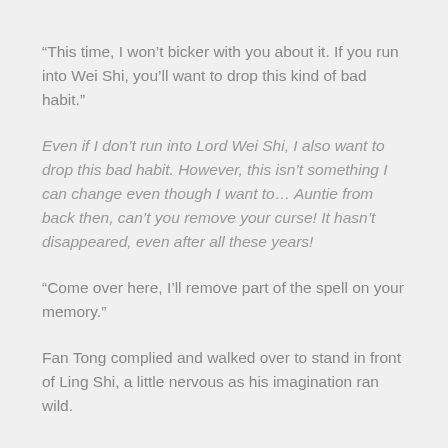“This time, I won’t bicker with you about it. If you run into Wei Shi, you’ll want to drop this kind of bad habit.”
Even if I don’t run into Lord Wei Shi, I also want to drop this bad habit. However, this isn’t something I can change even though I want to… Auntie from back then, can’t you remove your curse! It hasn’t disappeared, even after all these years!
“Come over here, I’ll remove part of the spell on your memory.”
Fan Tong complied and walked over to stand in front of Ling Shi, a little nervous as his imagination ran wild.